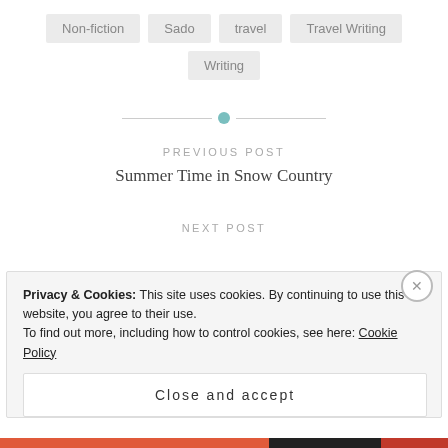Non-fiction
Sado
travel
Travel Writing
Writing
PREVIOUS POST
Summer Time in Snow Country
NEXT POST
Privacy & Cookies: This site uses cookies. By continuing to use this website, you agree to their use.
To find out more, including how to control cookies, see here: Cookie Policy
Close and accept